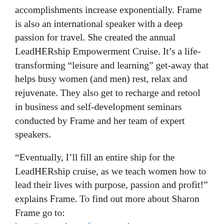accomplishments increase exponentially. Frame is also an international speaker with a deep passion for travel. She created the annual LeadHERship Empowerment Cruise. It’s a life-transforming “leisure and learning” get-away that helps busy women (and men) rest, relax and rejuvenate. They also get to recharge and retool in business and self-development seminars conducted by Frame and her team of expert speakers.
“Eventually, I’ll fill an entire ship for the LeadHERship cruise, as we teach women how to lead their lives with purpose, passion and profit!” explains Frame. To find out more about Sharon Frame go to: http://www.sharonframespeaks.com. “LeadHERship:” Own it! Love it! Learn it! Give it! Women Redefining Wealth, Health and Happiness” is now available on Amazon.com at: http://www.amazon.com/LeadHERship